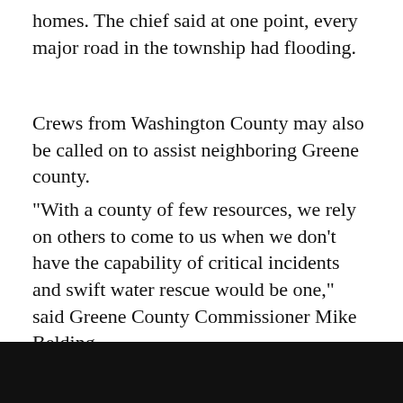homes. The chief said at one point, every major road in the township had flooding.
Crews from Washington County may also be called on to assist neighboring Greene county.
"With a county of few resources, we rely on others to come to us when we don't have the capability of critical incidents and swift water rescue would be one," said Greene County Commissioner Mike Belding.
However, there are some things Greene County has been doing.
"Increased communication, make sure we have